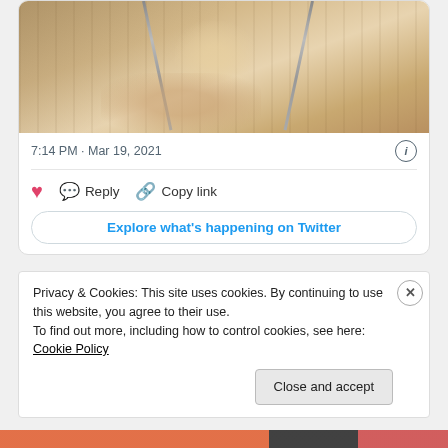[Figure (screenshot): Cropped screenshot of a Twitter post showing a partial sepia-toned photo with zipper details, timestamp 7:14 PM · Mar 19, 2021, action buttons (heart, Reply, Copy link), and an Explore what's happening on Twitter button. Below is a cookie consent banner with Close and accept button.]
7:14 PM · Mar 19, 2021
Reply
Copy link
Explore what's happening on Twitter
Privacy & Cookies: This site uses cookies. By continuing to use this website, you agree to their use.
To find out more, including how to control cookies, see here: Cookie Policy
Close and accept